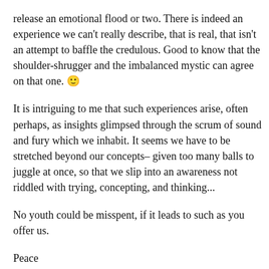release an emotional flood or two. There is indeed an experience we can't really describe, that is real, that isn't an attempt to baffle the credulous. Good to know that the shoulder-shrugger and the imbalanced mystic can agree on that one. 🙂
It is intriguing to me that such experiences arise, often perhaps, as insights glimpsed through the scrum of sound and fury which we inhabit. It seems we have to be stretched beyond our concepts– given too many balls to juggle at once, so that we slip into an awareness not riddled with trying, concepting, and thinking...
No youth could be misspent, if it leads to such as you offer us.
Peace
Michael
★ Liked by 1 person
Reply